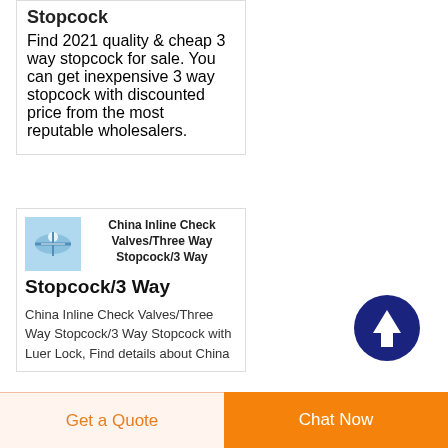Stopcock
Find 2021 quality & cheap 3 way stopcock for sale. You can get inexpensive 3 way stopcock with discounted price from the most reputable wholesalers.
China Inline Check Valves/Three Way Stopcock/3 Way
China Inline Check Valves/Three Way Stopcock/3 Way Stopcock with Luer Lock, Find details about China
[Figure (other): Scroll to top button — dark navy circle with white upward arrow]
Get a Quote
Chat Now